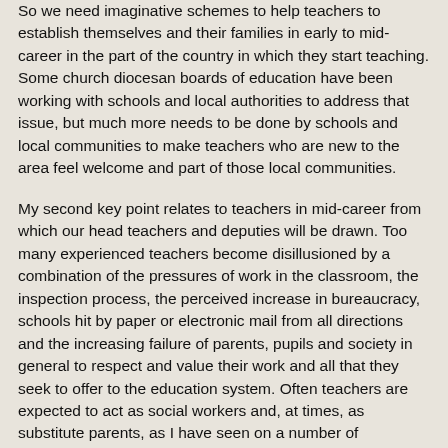So we need imaginative schemes to help teachers to establish themselves and their families in early to mid-career in the part of the country in which they start teaching. Some church diocesan boards of education have been working with schools and local authorities to address that issue, but much more needs to be done by schools and local communities to make teachers who are new to the area feel welcome and part of those local communities.
My second key point relates to teachers in mid-career from which our head teachers and deputies will be drawn. Too many experienced teachers become disillusioned by a combination of the pressures of work in the classroom, the inspection process, the perceived increase in bureaucracy, schools hit by paper or electronic mail from all directions and the increasing failure of parents, pupils and society in general to respect and value their work and all that they seek to offer to the education system. Often teachers are expected to act as social workers and, at times, as substitute parents, as I have seen on a number of occasions.
I am reminded of a discussion that I had a few days ago with a deputy head teacher who described to me the parental pressure and abuse that he and other teachers in his school had to endure. He said that essentially money was not a problem--although he would not for one moment deny that it is part of the overall pattern and concern--but that